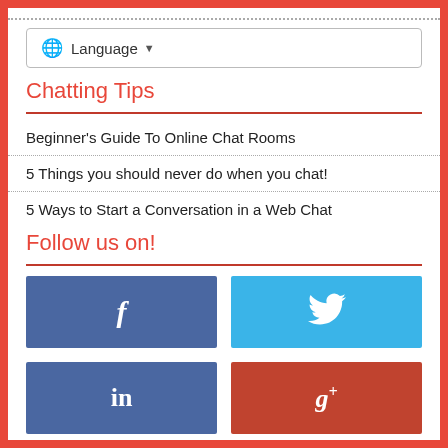[Figure (screenshot): Language selector dropdown button with globe icon]
Chatting Tips
Beginner's Guide To Online Chat Rooms
5 Things you should never do when you chat!
5 Ways to Start a Conversation in a Web Chat
Follow us on!
[Figure (infographic): Four social media buttons: Facebook (blue, f), Twitter (light blue, bird icon), LinkedIn (blue, in), Google+ (red-orange, g+)]